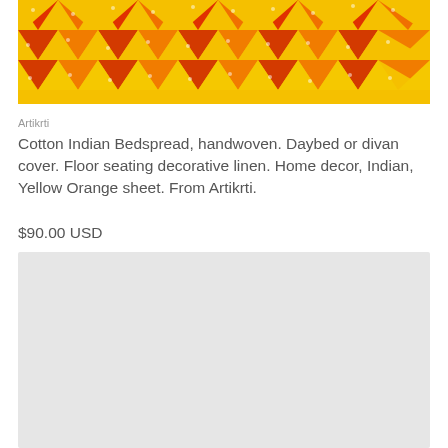[Figure (photo): Close-up photo of a colorful cotton Indian bedspread with zigzag/chevron pattern in yellow, orange, and red colors with small floral prints]
Artikrti
Cotton Indian Bedspread, handwoven. Daybed or divan cover. Floor seating decorative linen. Home decor, Indian, Yellow Orange sheet. From Artikrti.
$90.00 USD
[Figure (photo): Second product image placeholder with light gray background]